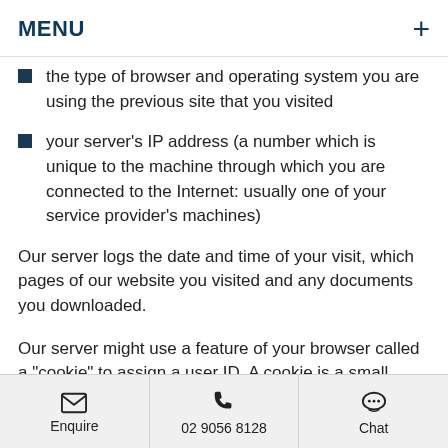MENU
the type of browser and operating system you are using the previous site that you visited
your server's IP address (a number which is unique to the machine through which you are connected to the Internet: usually one of your service provider's machines)
Our server logs the date and time of your visit, which pages of our website you visited and any documents you downloaded.
Our server might use a feature of your browser called a "cookie" to assign a user ID. A cookie is a small piece of text that is placed within the memory
Enquire  02 9056 8128  Chat